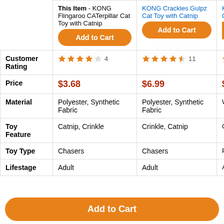|  | This Item - KONG Flingaroo CATerpillar Cat Toy with Catnip | KONG Crackles Gulpz Cat Toy with Catnip | KO... Ca... |
| --- | --- | --- | --- |
|  | Add to Cart | Add to Cart |  |
| Customer Rating | 4 stars (4) | 4.5 stars (11) | star |
| Price | $3.68 | $6.99 | $3... |
| Material | Polyester, Synthetic Fabric | Polyester, Synthetic Fabric | Wo... |
| Toy Feature | Catnip, Crinkle | Crinkle, Catnip | Ca... |
| Toy Type | Chasers | Chasers | Plu... |
| Lifestage | Adult | Adult | Ad... |
Add to Cart